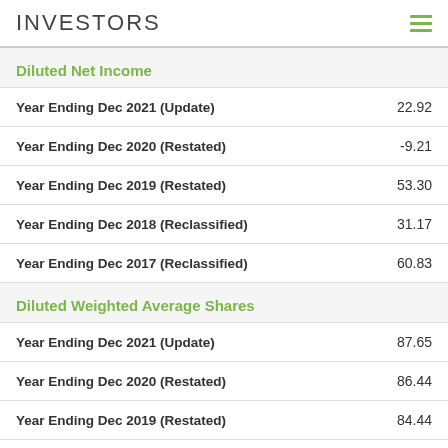INVESTORS
Diluted Net Income
| Period | Value |
| --- | --- |
| Year Ending Dec 2021 (Update) | 22.92 |
| Year Ending Dec 2020 (Restated) | -9.21 |
| Year Ending Dec 2019 (Restated) | 53.30 |
| Year Ending Dec 2018 (Reclassified) | 31.17 |
| Year Ending Dec 2017 (Reclassified) | 60.83 |
Diluted Weighted Average Shares
| Period | Value |
| --- | --- |
| Year Ending Dec 2021 (Update) | 87.65 |
| Year Ending Dec 2020 (Restated) | 86.44 |
| Year Ending Dec 2019 (Restated) | 84.44 |
| Year Ending Dec 2018 (Reclassified) | 82.08 |